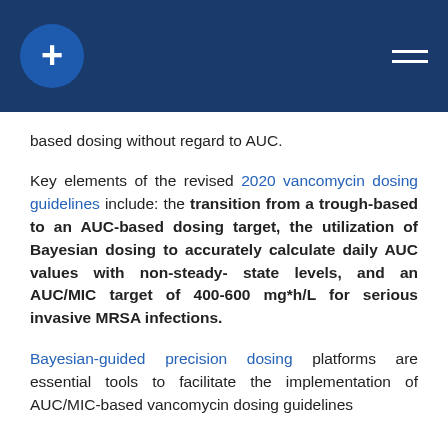[Blue header bar with medical cross logo and hamburger menu]
based dosing without regard to AUC.
Key elements of the revised 2020 vancomycin dosing guidelines include: the transition from a trough-based to an AUC-based dosing target, the utilization of Bayesian dosing to accurately calculate daily AUC values with non-steady-state levels, and an AUC/MIC target of 400-600 mg*h/L for serious invasive MRSA infections.
Bayesian-guided precision dosing platforms are essential tools to facilitate the implementation of AUC/MIC-based vancomycin dosing guidelines